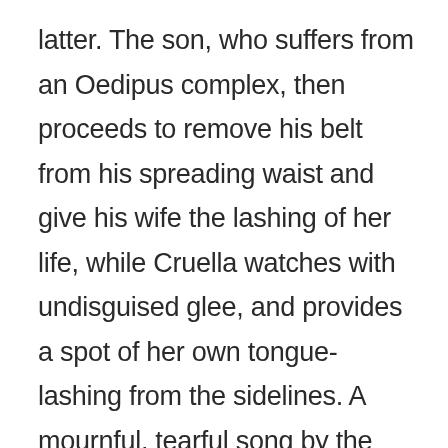latter. The son, who suffers from an Oedipus complex, then proceeds to remove his belt from his spreading waist and give his wife the lashing of her life, while Cruella watches with undisguised glee, and provides a spot of her own tongue-lashing from the sidelines. A mournful, tearful song by the stricken wife then follows. The father-in-law is usually a timid, shadowy figure cowering in the background. That is the celluloid